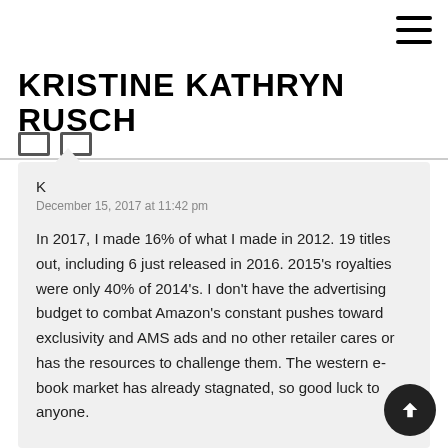☰
KRISTINE KATHRYN RUSCH
K
December 15, 2017 at 11:42 pm
In 2017, I made 16% of what I made in 2012. 19 titles out, including 6 just released in 2016. 2015's royalties were only 40% of 2014's. I don't have the advertising budget to combat Amazon's constant pushes toward exclusivity and AMS ads and no other retailer cares or has the resources to challenge them. The western e-book market has already stagnated, so good luck to anyone.